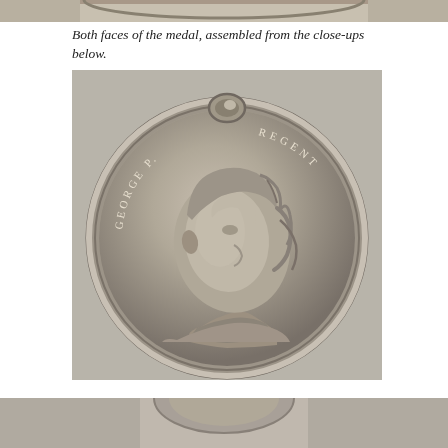[Figure (photo): Top strip showing edge of a medal photograph, partial view]
Both faces of the medal, assembled from the close-ups below.
[Figure (photo): Close-up photograph of the obverse face of a silver medal showing a right-facing portrait bust of George P. Regent (George, Prince Regent), with the inscription GEORGE P. on the left arc and REGENT on the right arc of the medal rim. A suspension ring is visible at the top.]
[Figure (photo): Bottom strip showing the partial top of another medal photograph]